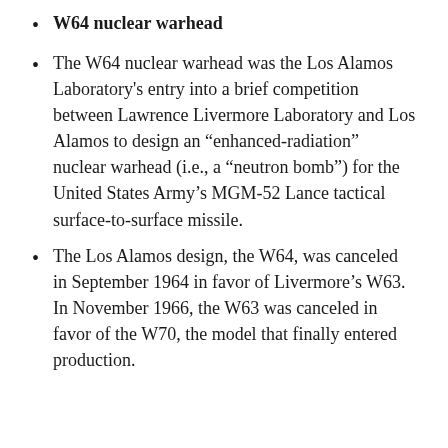W64 nuclear warhead
The W64 nuclear warhead was the Los Alamos Laboratory’s entry into a brief competition between Lawrence Livermore Laboratory and Los Alamos to design an “enhanced-radiation” nuclear warhead (i.e., a “neutron bomb”) for the United States Army’s MGM-52 Lance tactical surface-to-surface missile.
The Los Alamos design, the W64, was canceled in September 1964 in favor of Livermore’s W63. In November 1966, the W63 was canceled in favor of the W70, the model that finally entered production.